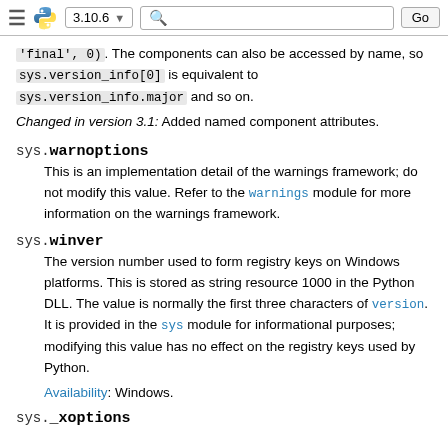3.10.6  [search] Go
'final', 0). The components can also be accessed by name, so sys.version_info[0] is equivalent to sys.version_info.major and so on.
Changed in version 3.1: Added named component attributes.
sys.warnoptions
This is an implementation detail of the warnings framework; do not modify this value. Refer to the warnings module for more information on the warnings framework.
sys.winver
The version number used to form registry keys on Windows platforms. This is stored as string resource 1000 in the Python DLL. The value is normally the first three characters of version. It is provided in the sys module for informational purposes; modifying this value has no effect on the registry keys used by Python.
Availability: Windows.
sys._xoptions